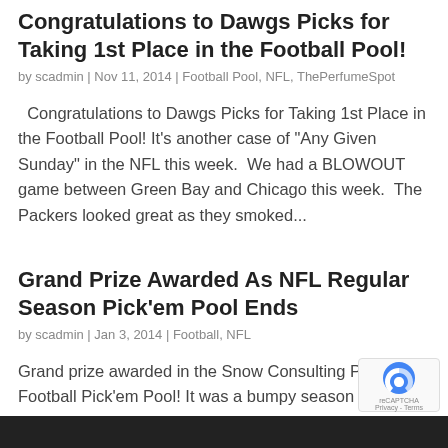Congratulations to Dawgs Picks for Taking 1st Place in the Football Pool!
by scadmin | Nov 11, 2014 | Football Pool, NFL, ThePerfumeSpot
Congratulations to Dawgs Picks for Taking 1st Place in the Football Pool! It’s another case of “Any Given Sunday” in the NFL this week.  We had a BLOWOUT game between Green Bay and Chicago this week.  The Packers looked great as they smoked…
Grand Prize Awarded As NFL Regular Season Pick’em Pool Ends
by scadmin | Jan 3, 2014 | Football, NFL
Grand prize awarded in the Snow Consulting Pro Football Pick’em Pool! It was a bumpy season for many of our Pick’em Pool players, but the overall season winner stayed pretty close to the top for at least the 2nd ha…